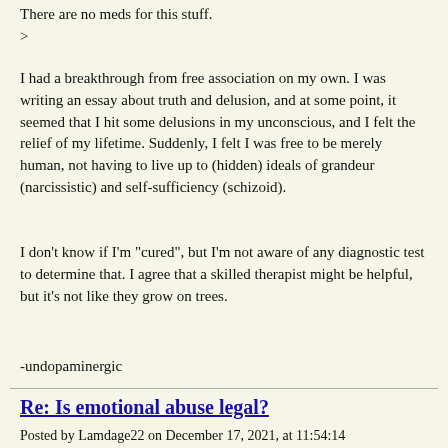There are no meds for this stuff.
>
I had a breakthrough from free association on my own. I was writing an essay about truth and delusion, and at some point, it seemed that I hit some delusions in my unconscious, and I felt the relief of my lifetime. Suddenly, I felt I was free to be merely human, not having to live up to (hidden) ideals of grandeur (narcissistic) and self-sufficiency (schizoid).
I don't know if I'm "cured", but I'm not aware of any diagnostic test to determine that. I agree that a skilled therapist might be helpful, but it's not like they grow on trees.
-undopaminergic
Re: Is emotional abuse legal?
Posted by Lamdage22 on December 17, 2021, at 11:54:14